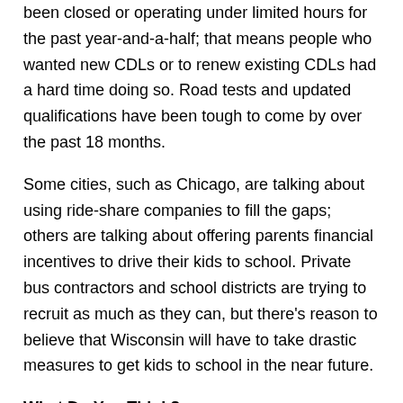been closed or operating under limited hours for the past year-and-a-half; that means people who wanted new CDLs or to renew existing CDLs had a hard time doing so. Road tests and updated qualifications have been tough to come by over the past 18 months.
Some cities, such as Chicago, are talking about using ride-share companies to fill the gaps; others are talking about offering parents financial incentives to drive their kids to school. Private bus contractors and school districts are trying to recruit as much as they can, but there's reason to believe that Wisconsin will have to take drastic measures to get kids to school in the near future.
What Do You Think?
Would you become a bus driver for a Wisconsin school district as the pandemic rages on, or do you know bus drivers who don't want to work during this